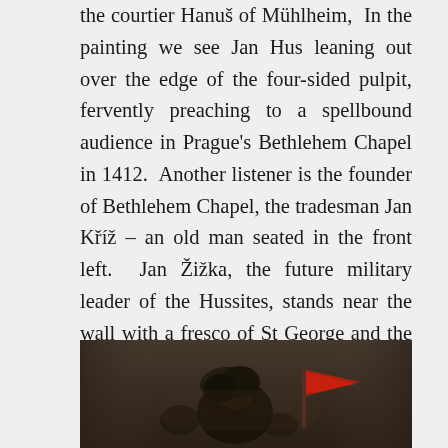the courtier Hanuš of Mühlheim, In the painting we see Jan Hus leaning out over the edge of the four-sided pulpit, fervently preaching to a spellbound audience in Prague's Bethlehem Chapel in 1412. Another listener is the founder of Bethlehem Chapel, the tradesman Jan Kříž – an old man seated in the front left. Jan Žižka, the future military leader of the Hussites, stands near the wall with a fresco of St George and the Dragon, on the left while Queen Sophia, wife of King Váklav IV, sits listening intently with her ladies-in-waiting on either side.
[Figure (photo): A dark, dimly lit painting showing figures, a dragon-like form and a red flag or banner, likely a detail from a historical painting related to the Hussite period.]